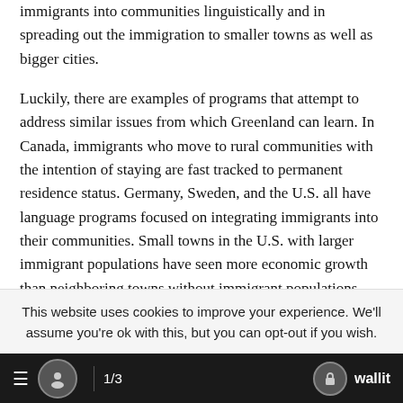immigrants into communities linguistically and in spreading out the immigration to smaller towns as well as bigger cities.
Luckily, there are examples of programs that attempt to address similar issues from which Greenland can learn. In Canada, immigrants who move to rural communities with the intention of staying are fast tracked to permanent residence status. Germany, Sweden, and the U.S. all have language programs focused on integrating immigrants into their communities. Small towns in the U.S. with larger immigrant populations have seen more economic growth than neighboring towns without immigrant populations.
This website uses cookies to improve your experience. We'll assume you're ok with this, but you can opt-out if you wish.
1/3   wallit